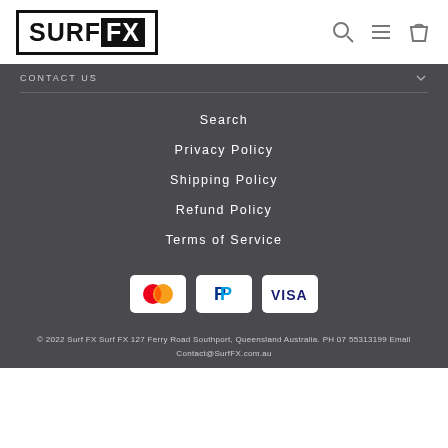[Figure (logo): SURF FX logo in black and white with bold text in a bordered box]
CONTACT US
Search
Privacy Policy
Shipping Policy
Refund Policy
Terms of Service
[Figure (other): Payment method icons: Mastercard, PayPal, Visa]
© 2022 Surf FX Surf FX 127 Ferry Road Southport, Queensland Australia. PH 07 55313199 Email Contact@SurfFX.com.au